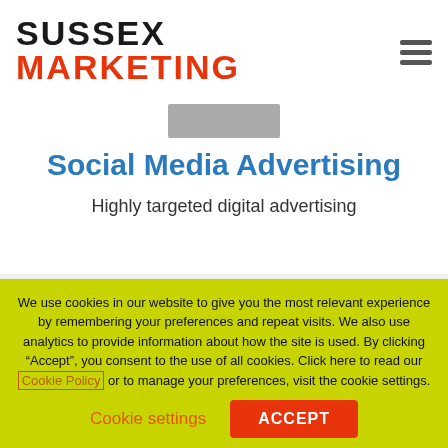[Figure (logo): Sussex Marketing logo with SUSSEX in black bold and MARKETING in red bold]
[Figure (illustration): Grey horizontal bar icon representing a display/monitor thumbnail]
Social Media Advertising
Highly targeted digital advertising
Contact Details
Sussex Marketing Strategies Limited
We use cookies in our website to give you the most relevant experience by remembering your preferences and repeat visits. We also use analytics to provide information about how the site is used. By clicking “Accept”, you consent to the use of all cookies. Click here to read our Cookie Policy or to manage your preferences, visit the cookie settings.